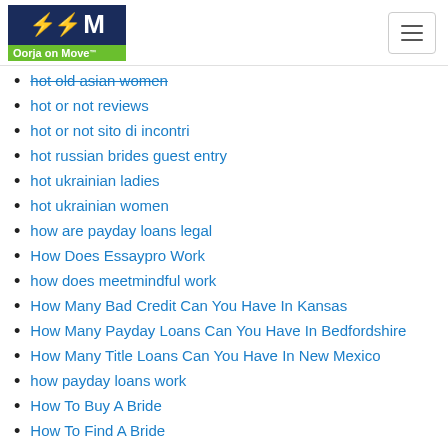Oorja on Move
hot old asian women
hot or not reviews
hot or not sito di incontri
hot russian brides guest entry
hot ukrainian ladies
hot ukrainian women
how are payday loans legal
How Does Essaypro Work
how does meetmindful work
How Many Bad Credit Can You Have In Kansas
How Many Payday Loans Can You Have In Bedfordshire
How Many Title Loans Can You Have In New Mexico
how payday loans work
How To Buy A Bride
How To Find A Bride
How To Find A Girl